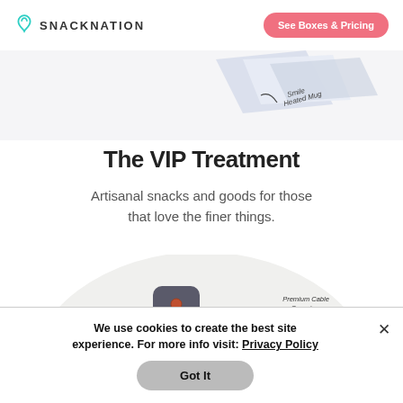SNACKNATION | See Boxes & Pricing
[Figure (photo): Top partial view of product/mug with handwritten label 'Smile Heated Mug']
The VIP Treatment
Artisanal snacks and goods for those that love the finer things.
[Figure (photo): Flat lay of VIP box items including Courant Portable Charger, Premium Cable Organizer, a speaker, bluetooth device, glasses, and a branded box with 'YOUR LOGO HERE']
We use cookies to create the best site experience. For more info visit: Privacy Policy
Got It